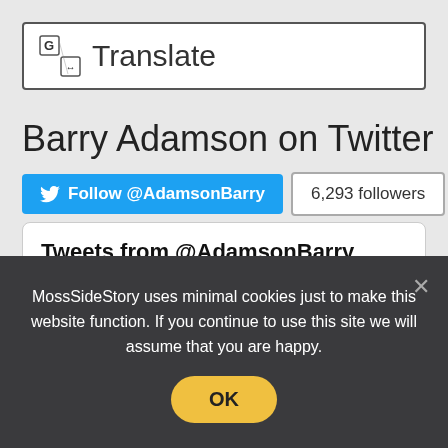[Figure (logo): Google Translate logo with 'Translate' text in a white rounded rectangle box]
Barry Adamson on Twitter
[Figure (screenshot): Twitter Follow @AdamsonBarry button (blue) with 6,293 followers count badge]
[Figure (screenshot): Twitter widget showing 'Tweets from @AdamsonBarry' header, Barry Adamson verified account avatar, handle @AdamsonBarry · Aug 11, and partial tweet text: Delighted to have contributed to this amazing]
MossSideStory uses minimal cookies just to make this website function. If you continue to use this site we will assume that you are happy.